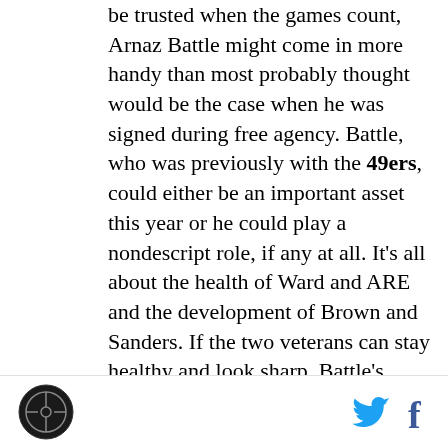be trusted when the games count, Arnaz Battle might come in more handy than most probably thought would be the case when he was signed during free agency. Battle, who was previously with the 49ers, could either be an important asset this year or he could play a nondescript role, if any at all. It's all about the health of Ward and ARE and the development of Brown and Sanders. If the two veterans can stay healthy and look sharp, Battle's veteran understanding of what's expected of him becomes less important. And if Sanders or Brown looks ready to go, than it might make more sense to get them live game exposure over the 29-year old Battle, who's demonstrated over his career that
[logo] [twitter] [facebook]